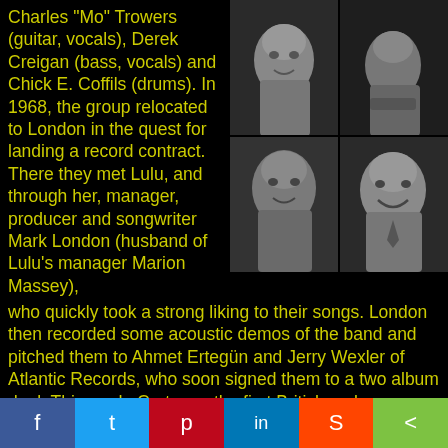Charles "Mo" Trowers (guitar, vocals), Derek Creigan (bass, vocals) and Chick E. Coffils (drums). In 1968, the group relocated to London in the quest for landing a record contract. There they met Lulu, and through her, manager, producer and songwriter Mark London (husband of Lulu's manager Marion Massey), who quickly took a strong liking to their songs. London then recorded some acoustic demos of the band and pitched them to Ahmet Ertegün and Jerry Wexler of Atlantic Records, who soon signed them to a two album deal. This made Cartoone the first British rock ensemble to be signed to Atlantic, predating Led Zeppelin by several months.
[Figure (photo): A 2x2 grid of black-and-white portrait photos of four band members]
f  t  p  in  reddit  share